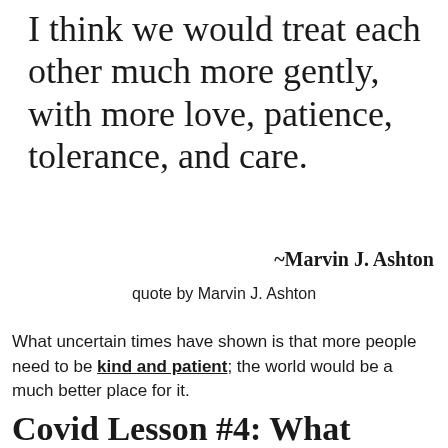I think we would treat each other much more gently, with more love, patience, tolerance, and care.
~Marvin J. Ashton
quote by Marvin J. Ashton
What uncertain times have shown is that more people need to be kind and patient; the world would be a much better place for it.
Covid Lesson #4: What